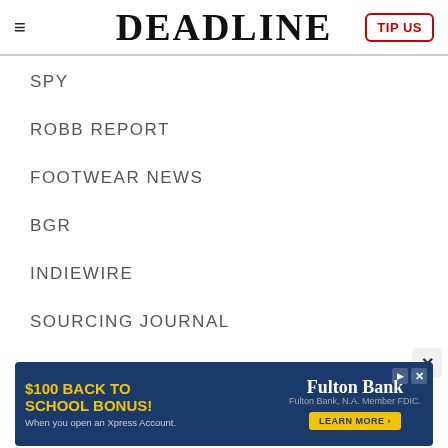DEADLINE
SPY
ROBB REPORT
FOOTWEAR NEWS
BGR
INDIEWIRE
SOURCING JOURNAL
TVLINE
FAIRCHILD MEDIA
SHE KNOWS
[Figure (infographic): Advertisement banner for Fulton Bank: '$100 BACK TO SCHOOL BONUS! When you open an Xpress Account. LEARN MORE']